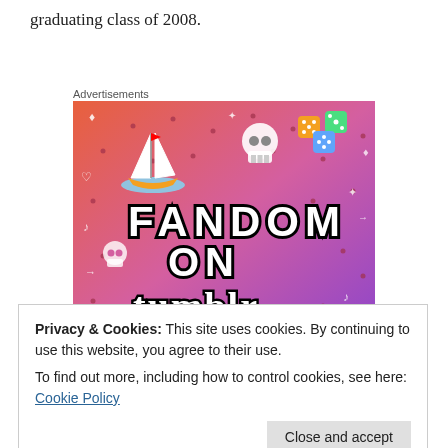graduating class of 2008.
Advertisements
[Figure (illustration): Fandom on Tumblr advertisement banner with colorful gradient background (orange to purple) featuring cartoon doodles including a sailboat, skull, dice, and the text 'FANDOM ON tumblr']
Privacy & Cookies: This site uses cookies. By continuing to use this website, you agree to their use.
To find out more, including how to control cookies, see here: Cookie Policy
and new friends and the enjoy the new memories we